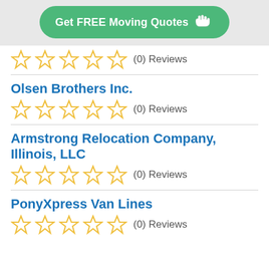[Figure (other): Green CTA button: Get FREE Moving Quotes with pointing hand icon]
(0) Reviews
Olsen Brothers Inc.
(0) Reviews
Armstrong Relocation Company, Illinois, LLC
(0) Reviews
PonyXpress Van Lines
(0) Reviews